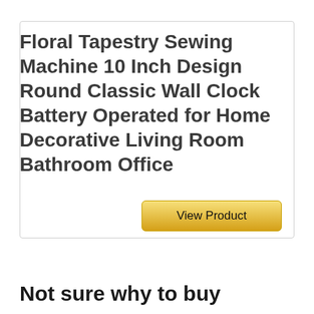Floral Tapestry Sewing Machine 10 Inch Design Round Classic Wall Clock Battery Operated for Home Decorative Living Room Bathroom Office
View Product
Not sure why to buy